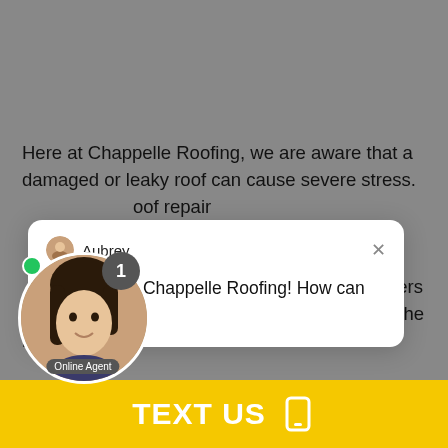Here at Chappelle Roofing, we are aware that a damaged or leaky roof can cause severe stress. [roof repair] [rt, FL.] [r highly skilled roofers will be there to assess the damage and make the necessary repairs.] [he tools to get your roof looking like new again, because we only use the highest quality m, you can rest assured that your roof will]
[Figure (screenshot): Chat popup card with agent name Aubrey, close button (X), and message: Welcome to Chappelle Roofing! How can we help you?]
[Figure (photo): Circular avatar of online agent (woman) with green online dot, notification badge showing 1, and Online Agent label]
TEXT US